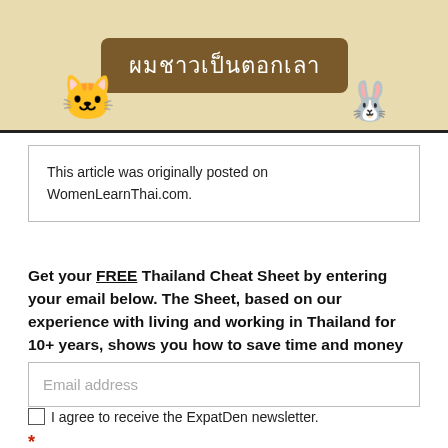[Figure (illustration): Banner image with Thai text 'ผมชาวเป็นตอกเลา' on a brown sign, flanked by cartoon cat and bunny characters on a tan/beige background.]
This article was originally posted on WomenLearnThai.com.
Get your FREE Thailand Cheat Sheet by entering your email below. The Sheet, based on our experience with living and working in Thailand for 10+ years, shows you how to save time and money and gives you the tools the thrive in Thailand.
Email address
I agree to receive the ExpatDen newsletter.
*